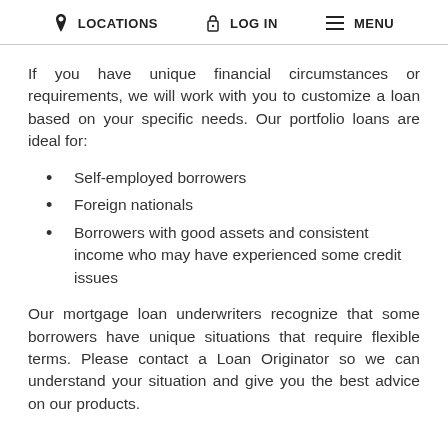LOCATIONS   LOG IN   MENU
If you have unique financial circumstances or requirements, we will work with you to customize a loan based on your specific needs. Our portfolio loans are ideal for:
Self-employed borrowers
Foreign nationals
Borrowers with good assets and consistent income who may have experienced some credit issues
Our mortgage loan underwriters recognize that some borrowers have unique situations that require flexible terms. Please contact a Loan Originator so we can understand your situation and give you the best advice on our products.